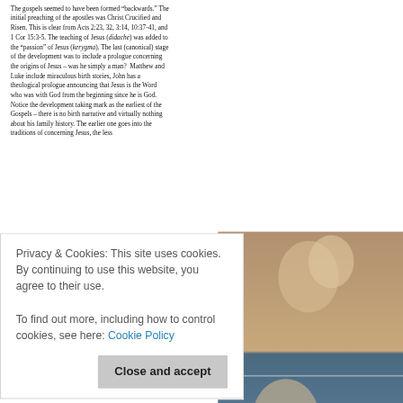The gospels seemed to have been formed “backwards.” The initial preaching of the apostles was Christ Crucified and Risen. This is clear from Acts 2:23, 32, 3:14, 10:37-41, and 1 Cor 15:3-5. The teaching of Jesus (didache) was added to the “passion” of Jesus (kerygma). The last (canonical) stage of the development was to include a prologue concerning the origins of Jesus – was he simply a man?  Matthew and Luke include miraculous birth stories, John has a theological prologue announcing that Jesus is the Word who was with God from the beginning since he is God.  Notice the development taking mark as the earliest of the Gospels – there is no birth narrative and virtually nothing about his family history. The earlier one goes into the traditions of concerning Jesus, the less
Privacy & Cookies: This site uses cookies. By continuing to use this website, you agree to their use.
To find out more, including how to control cookies, see here: Cookie Policy
[Figure (photo): Religious painting showing figures, partially visible on right side of page]
apostolic era. These apocryphal stories are much more fanciful and creative – and far less historically reliable